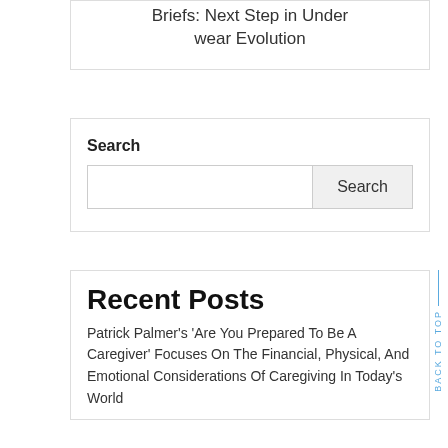Briefs: Next Step in Underwear Evolution
Search
Recent Posts
Patrick Palmer's 'Are You Prepared To Be A Caregiver' Focuses On The Financial, Physical, And Emotional Considerations Of Caregiving In Today's World